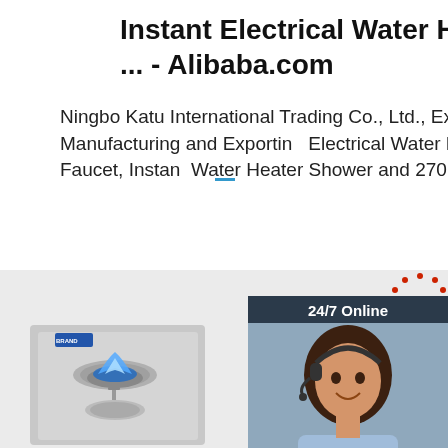Instant Electrical Water Heater Faucet ... - Alibaba.com
Ningbo Katu International Trading Co., Ltd., Experts in Manufacturing and Exporting Electrical Water Heater Faucet, Instant Water Heater Shower and 270 more P
[Figure (other): Chat widget showing a woman with headset, '24/7 Online' label, 'Click here for free chat!' text, and QUOTATION button]
[Figure (other): Orange 'Get Price' button]
[Figure (photo): Two stainless steel commercial gas burner stoves with blue flames, shown side by side on a light grey background. TOP badge visible on right side.]